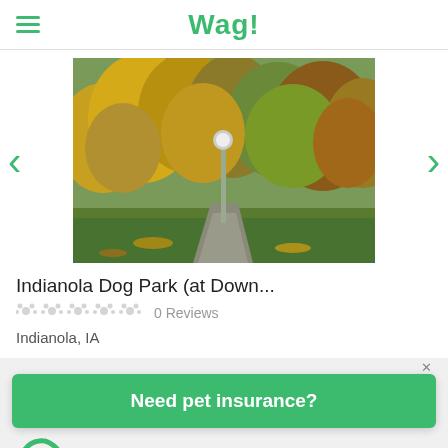Wag!
[Figure (photo): Autumn park path lined with yellow and orange leafy trees, a lamp post in the center, pathway leading into the distance]
Indianola Dog Park (at Down...
0 Reviews
Indianola, IA
Need pet insurance?